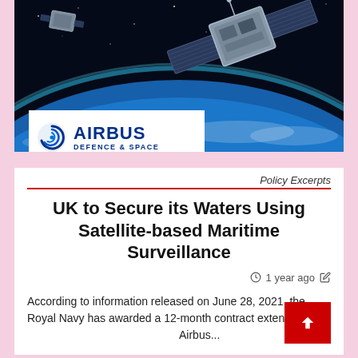[Figure (photo): Satellite in orbit above Earth with blue atmosphere horizon visible, against black space background. Airbus Defence & Space logo overlaid on lower left of image.]
Policy Excerpts
UK to Secure its Waters Using Satellite-based Maritime Surveillance
1 year ago
According to information released on June 28, 2021, the Royal Navy has awarded a 12-month contract extens... Airbus...